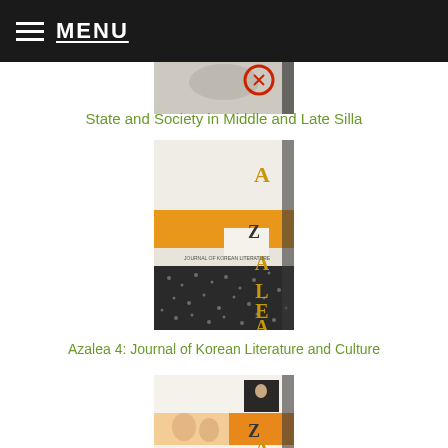MENU
[Figure (illustration): Partial book cover visible at top — State and Society in Middle and Late Silla]
State and Society in Middle and Late Silla
[Figure (illustration): Book cover of Azalea 4: Journal of Korean Literature and Culture — beige and orange striped cover with large gold letters A Z A L E A]
Azalea 4: Journal of Korean Literature and Culture
[Figure (illustration): Partial book cover of another Azalea journal issue with orange cover and traditional Korean artwork]